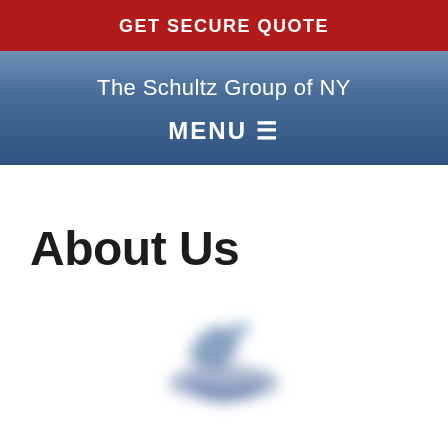GET SECURE QUOTE
The Schultz Group of NY
MENU ☰
About Us
[Figure (logo): Blurred logo or icon, appears to be a stylized bird or checkmark shape in blue/grey tones]